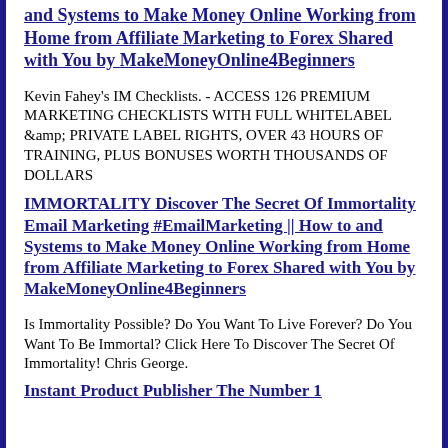and Systems to Make Money Online Working from Home from Affiliate Marketing to Forex Shared with You by MakeMoneyOnline4Beginners
Kevin Fahey&#039;s IM Checklists. - ACCESS 126 PREMIUM MARKETING CHECKLISTS WITH FULL WHITELABEL &amp; PRIVATE LABEL RIGHTS, OVER 43 HOURS OF TRAINING, PLUS BONUSES WORTH THOUSANDS OF DOLLARS
IMMORTALITY Discover The Secret Of Immortality Email Marketing #EmailMarketing || How to and Systems to Make Money Online Working from Home from Affiliate Marketing to Forex Shared with You by MakeMoneyOnline4Beginners
Is Immortality Possible? Do You Want To Live Forever? Do You Want To Be Immortal? Click Here To Discover The Secret Of Immortality! Chris George.
Instant Product Publisher The Number 1